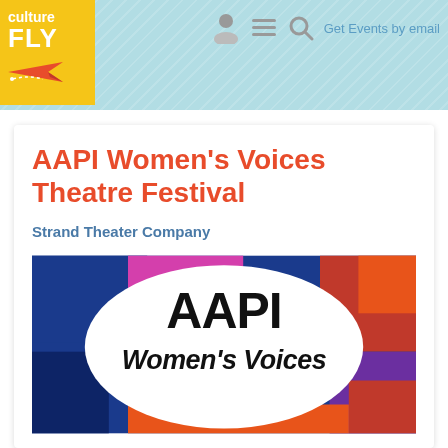culture FLY — Get Events by email
AAPI Women's Voices Theatre Festival
Strand Theater Company
[Figure (illustration): AAPI Women's Voices festival promotional art: colorful abstract background with blue, magenta, red, orange blocks; large white oval in center with bold black hand-lettered text reading 'AAPI Women's Voices']